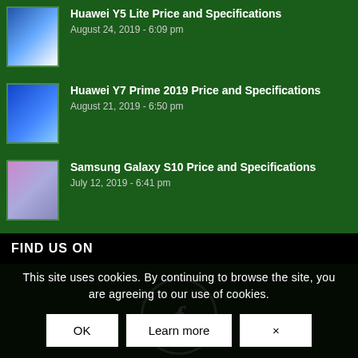Huawei Y5 Lite Price and Specifications
August 24, 2019 - 6:09 pm
Huawei Y7 Prime 2019 Price and Specifications
August 21, 2019 - 6:50 pm
Samsung Galaxy S10 Price and Specifications
July 12, 2019 - 6:41 pm
FIND US ON
[Figure (logo): Facebook logo circle icon with letter f]
This site uses cookies. By continuing to browse the site, you are agreeing to our use of cookies.
OK | Learn more | x